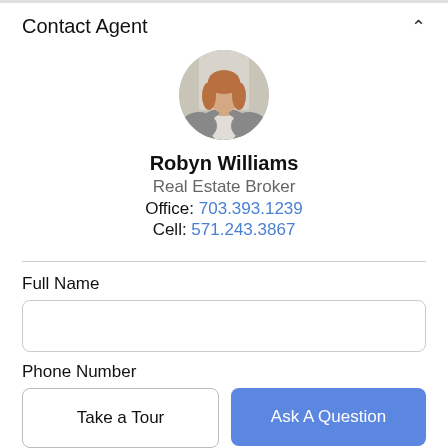Contact Agent
[Figure (photo): Circular profile photo of real estate agent Robyn Williams, a woman with reddish-blonde hair wearing a grey blazer]
Robyn Williams
Real Estate Broker
Office: 703.393.1239
Cell: 571.243.3867
Full Name
Phone Number
Take a Tour
Ask A Question